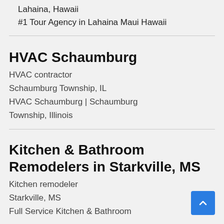Lahaina, Hawaii
#1 Tour Agency in Lahaina Maui Hawaii
HVAC Schaumburg
HVAC contractor
Schaumburg Township, IL
HVAC Schaumburg | Schaumburg Township, Illinois
Kitchen & Bathroom Remodelers in Starkville, MS
Kitchen remodeler
Starkville, MS
Full Service Kitchen & Bathroom